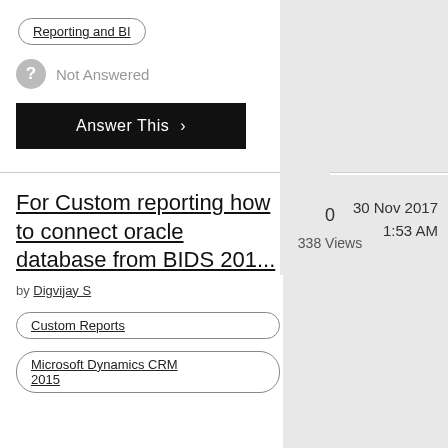Reporting and BI
Not Answered
Answer This >
For Custom reporting how to connect oracle database from BIDS 201...
by Digvijay S
0
338 Views
30 Nov 2017
1:53 AM
Custom Reports
Microsoft Dynamics CRM 2015